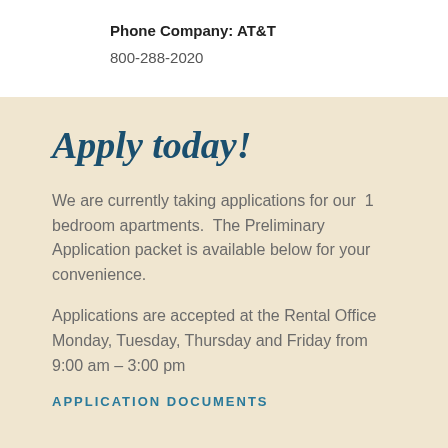Phone Company: AT&T
800-288-2020
Apply today!
We are currently taking applications for our  1 bedroom apartments.  The Preliminary Application packet is available below for your convenience.
Applications are accepted at the Rental Office Monday, Tuesday, Thursday and Friday from 9:00 am – 3:00 pm
APPLICATION DOCUMENTS